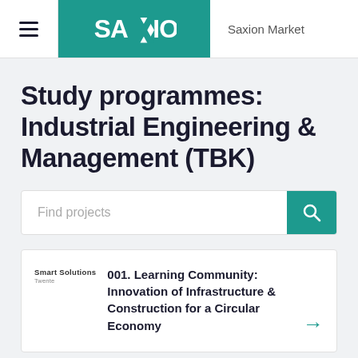Saxion Market
Study programmes: Industrial Engineering & Management (TBK)
Find projects
001. Learning Community: Innovation of Infrastructure & Construction for a Circular Economy